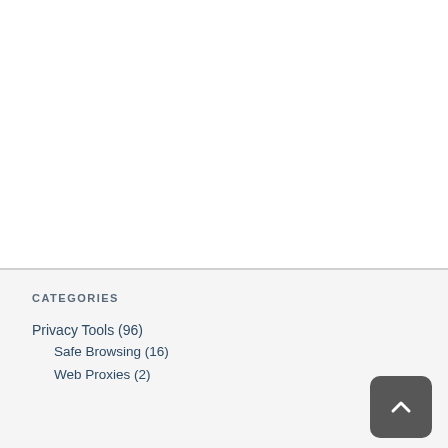CATEGORIES
Privacy Tools (96)
Safe Browsing (16)
Web Proxies (2)